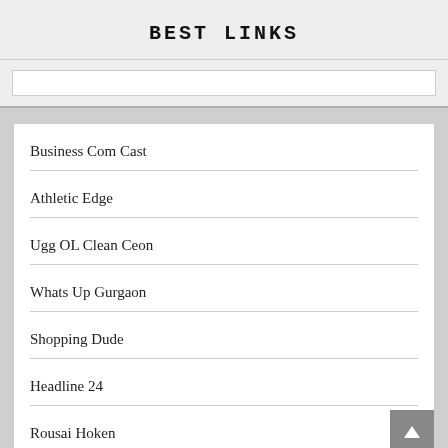BEST LINKS
Business Com Cast
Athletic Edge
Ugg OL Clean Ceon
Whats Up Gurgaon
Shopping Dude
Headline 24
Rousai Hoken